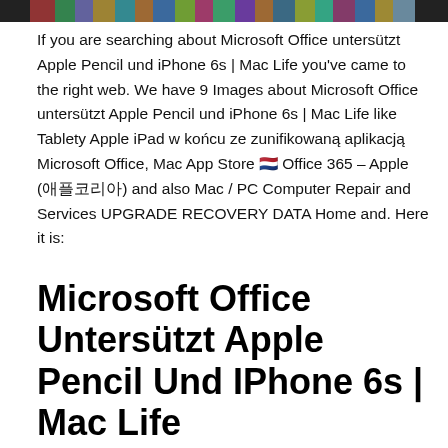[Figure (photo): A horizontal banner image showing a collage of colorful illustrated artworks and photos arranged in a strip across the top of the page.]
If you are searching about Microsoft Office untersützt Apple Pencil und iPhone 6s | Mac Life you've came to the right web. We have 9 Images about Microsoft Office untersützt Apple Pencil und iPhone 6s | Mac Life like Tablety Apple iPad w końcu ze zunifikowaną aplikacją Microsoft Office, Mac App Store 🇳🇱 Office 365 – Apple (애플코리아) and also Mac / PC Computer Repair and Services UPGRADE RECOVERY DATA Home and. Here it is:
Microsoft Office Untersützt Apple Pencil Und IPhone 6s | Mac Life